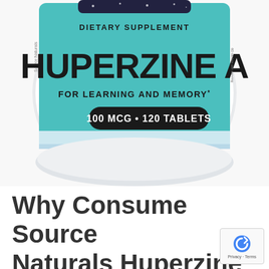[Figure (photo): A close-up photograph of a Source Naturals Huperzine A dietary supplement bottle. The label shows a teal/cyan colored band with 'DIETARY SUPPLEMENT' at the top, 'HUPERZINE A' in large bold letters, 'FOR LEARNING AND MEMORY*' below, and a black rounded-rectangle badge reading '100 MCG • 120 TABLETS'. The bottle is white/light colored.]
Why Consume Source Naturals Huperzine A